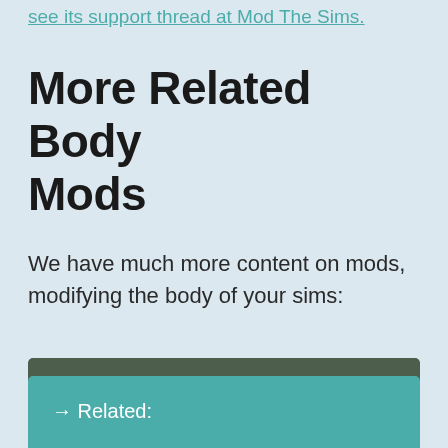see its support thread at Mod The Sims.
More Related Body Mods
We have much more content on mods, modifying the body of your sims:
↗ Back to the Main post: All Slider Mods for The Sims 4 Listed
→ Related: